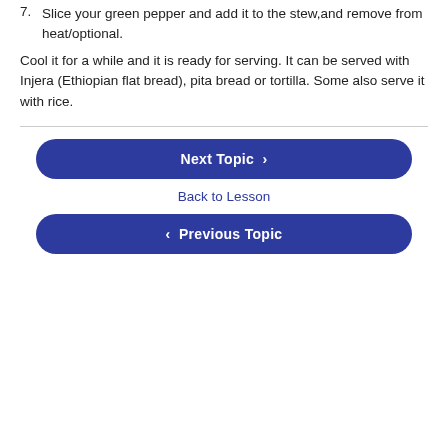7. Slice your green pepper and add it to the stew,and remove from heat/optional.
Cool it for a while and it is ready for serving. It can be served with Injera (Ethiopian flat bread), pita bread or tortilla. Some also serve it with rice.
[Figure (other): Next Topic button (blue rounded rectangle with white bold text and right chevron)]
Back to Lesson
[Figure (other): Previous Topic button (blue rounded rectangle with white bold text and left chevron)]